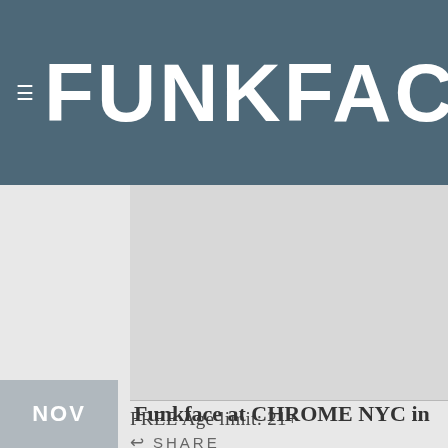FUNKFACE
[Figure (photo): Placeholder image area for an event photo]
FREE Age limit: 21+
SHARE
Funkface at CHROME NYC in